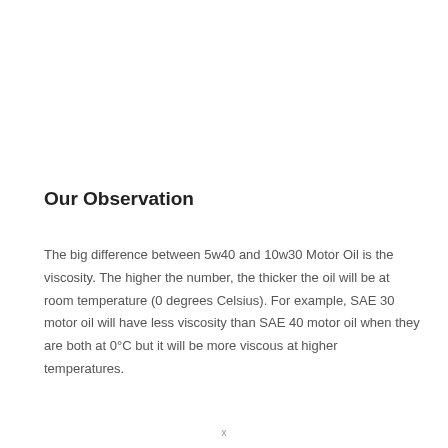Our Observation
The big difference between 5w40 and 10w30 Motor Oil is the viscosity. The higher the number, the thicker the oil will be at room temperature (0 degrees Celsius). For example, SAE 30 motor oil will have less viscosity than SAE 40 motor oil when they are both at 0°C but it will be more viscous at higher temperatures.
x